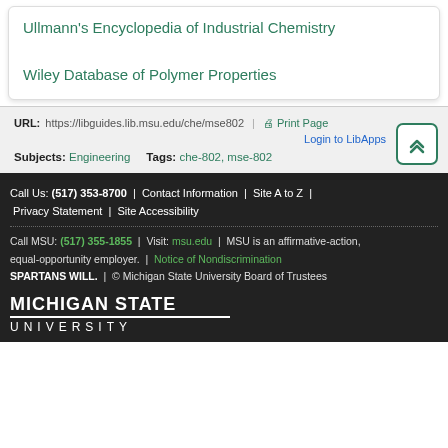Ullmann's Encyclopedia of Industrial Chemistry
Wiley Database of Polymer Properties
URL: https://libguides.lib.msu.edu/che/mse802 | Print Page | Login to LibApps
Subjects: Engineering   Tags: che-802, mse-802
Call Us: (517) 353-8700 | Contact Information | Site A to Z | Privacy Statement | Site Accessibility
Call MSU: (517) 355-1855 | Visit: msu.edu | MSU is an affirmative-action, equal-opportunity employer. | Notice of Nondiscrimination
SPARTANS WILL. | © Michigan State University Board of Trustees
[Figure (logo): Michigan State University wordmark logo in white on dark background]